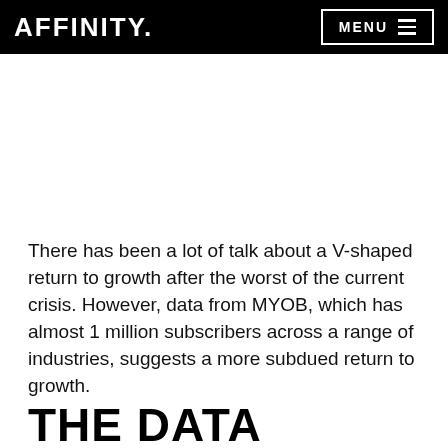AFFINITY.  MENU
There has been a lot of talk about a V-shaped return to growth after the worst of the current crisis. However, data from MYOB, which has almost 1 million subscribers across a range of industries, suggests a more subdued return to growth.
THE DATA